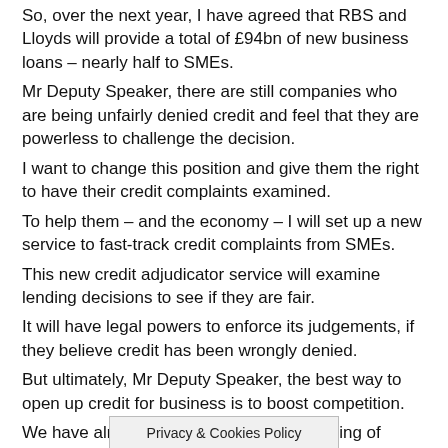So, over the next year, I have agreed that RBS and Lloyds will provide a total of £94bn of new business loans – nearly half to SMEs. Mr Deputy Speaker, there are still companies who are being unfairly denied credit and feel that they are powerless to challenge the decision. I want to change this position and give them the right to have their credit complaints examined. To help them – and the economy – I will set up a new service to fast-track credit complaints from SMEs. This new credit adjudicator service will examine lending decisions to see if they are fair. It will have legal powers to enforce its judgements, if they believe credit has been wrongly denied. But ultimately, Mr Deputy Speaker, the best way to open up credit for business is to boost competition. We have already made sure the restructuring of Lloyds and RBS, which will see 900 branches change hands, will bring new entrants into the market.
Privacy & Cookies Policy